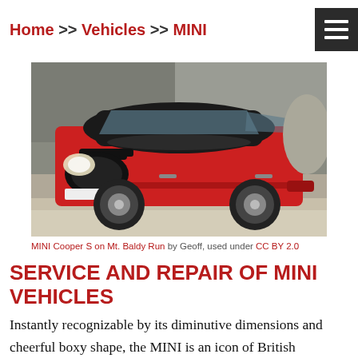Home >> Vehicles >> MINI
[Figure (photo): Red MINI Cooper S photographed on Mt. Baldy Run, front-three-quarter view against a rocky background.]
MINI Cooper S on Mt. Baldy Run by Geoff, used under CC BY 2.0
SERVICE AND REPAIR OF MINI VEHICLES
Instantly recognizable by its diminutive dimensions and cheerful boxy shape, the MINI is an icon of British automotive ingenuity. Originally